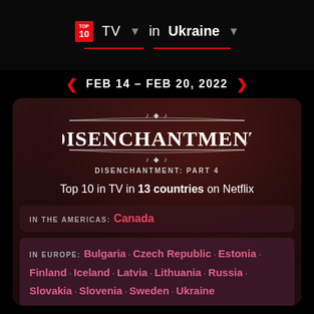TOP 10 TV in Ukraine
FEB 14 - FEB 20, 2022
[Figure (screenshot): Disenchantment show logo styled in ornate white lettering on dark background]
DISENCHANTMENT: PART 4
Top 10 in TV in 13 countries on Netflix
IN THE AMERICAS: Canada
IN EUROPE: Bulgaria · Czech Republic · Estonia · Finland · Iceland · Latvia · Lithuania · Russia · Slovakia · Slovenia · Sweden · Ukraine